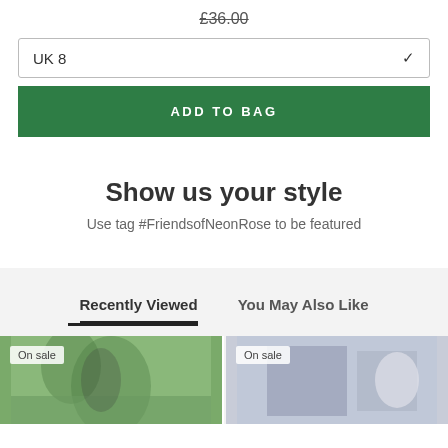£36.00
UK 8
ADD TO BAG
Show us your style
Use tag #FriendsofNeonRose to be featured
Recently Viewed
You May Also Like
On sale
On sale
[Figure (photo): Product photo showing a person outdoors with trees in background, marked On sale]
[Figure (photo): Product photo showing a light-colored item, marked On sale]